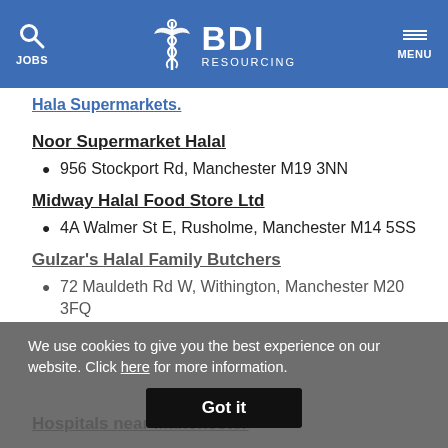BDI RESOURCING — JOBS / MENU navigation bar
Hala Supermarkets.
Noor Supermarket Halal
956 Stockport Rd, Manchester M19 3NN
Midway Halal Food Store Ltd
4A Walmer St E, Rusholme, Manchester M14 5SS
Gulzar's Halal Family Butchers
72 Mauldeth Rd W, Withington, Manchester M20 3FQ
We use cookies to give you the best experience on our website. Click here for more information. Got it
Hospitals near Manchester